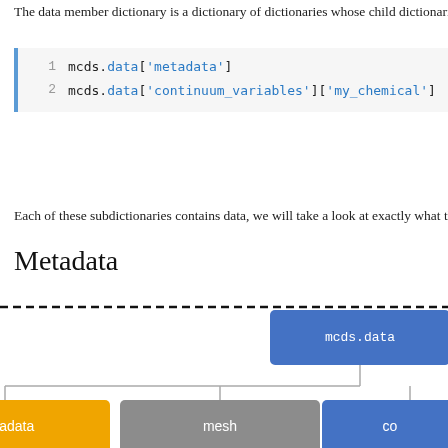The data member dictionary is a dictionary of dictionaries whose child dictionaries
Each of these subdictionaries contains data, we will take a look at exactly what th
Metadata
[Figure (organizational-chart): Tree diagram showing mcds.data dictionary structure. Root node (blue): mcds.data. Child nodes: metadata (yellow/gold), mesh (gray), co... (blue, partially visible). Under metadata: current_time (steel blue), current_runtime (steel blue), time_units (green).]